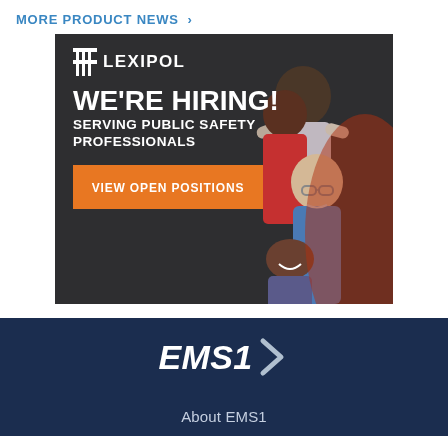MORE PRODUCT NEWS >
[Figure (illustration): Lexipol recruitment advertisement with dark background, illustrated diverse group of people, Lexipol logo, 'WE'RE HIRING! SERVING PUBLIC SAFETY PROFESSIONALS' text, and orange 'VIEW OPEN POSITIONS' button]
[Figure (logo): EMS1 logo with italic bold white text and chevron/arrow symbol on dark navy background]
About EMS1